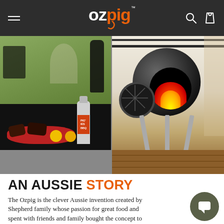OZpig
[Figure (photo): Left: outdoor BBQ scene with food on red plates, a beer bottle with orange label, and a smoker in background with person sitting in chair. Right: Ozpig portable wood-fire cooker on legs with fire visible through opening, grate on side, on a wooden deck.]
AN AUSSIE STORY
The Ozpig is the clever Aussie invention created by Shepherd family whose passion for great food and spent with friends and family bought the concept to with a focus on real fire, real flavour and real heat. The